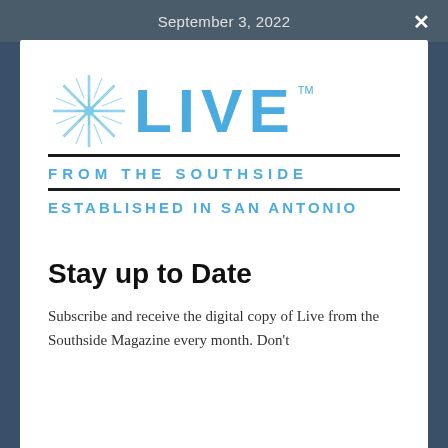September 3, 2022
[Figure (logo): Live from the Southside logo with snowflake icon, large blue LIVE text, divider lines, FROM THE SOUTHSIDE, and ESTABLISHED IN SAN ANTONIO text]
Stay up to Date
Subscribe and receive the digital copy of Live from the Southside Magazine every month. Don't